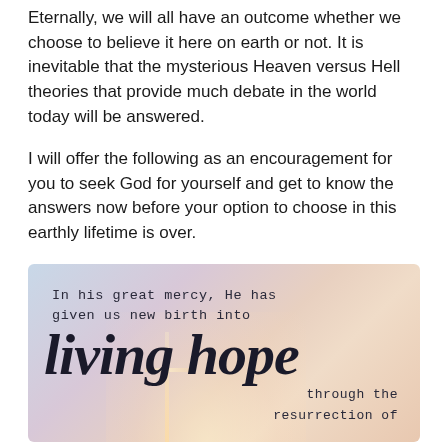Eternally, we will all have an outcome whether we choose to believe it here on earth or not. It is inevitable that the mysterious Heaven versus Hell theories that provide much debate in the world today will be answered.
I will offer the following as an encouragement for you to seek God for yourself and get to know the answers now before your option to choose in this earthly lifetime is over.
[Figure (illustration): Inspirational quote image with soft pastel gradient background (blue, purple, peach tones) with a subtle cross/light motif. Text reads: 'In his great mercy, He has given us new birth into living hope through the resurrection of' in mixed typography — smaller spaced serif for the first and last lines, large cursive/script for 'living hope'.]